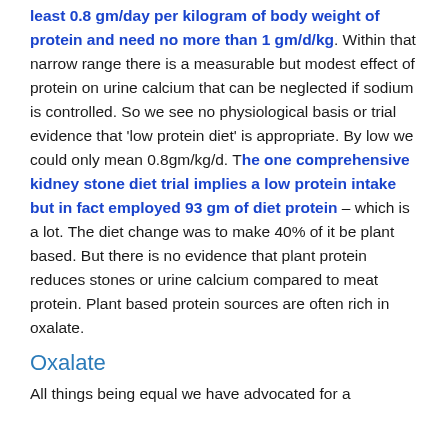least 0.8 gm/day per kilogram of body weight of protein and need no more than 1 gm/d/kg. Within that narrow range there is a measurable but modest effect of protein on urine calcium that can be neglected if sodium is controlled. So we see no physiological basis or trial evidence that 'low protein diet' is appropriate. By low we could only mean 0.8gm/kg/d. The one comprehensive kidney stone diet trial implies a low protein intake but in fact employed 93 gm of diet protein – which is a lot. The diet change was to make 40% of it be plant based. But there is no evidence that plant protein reduces stones or urine calcium compared to meat protein. Plant based protein sources are often rich in oxalate.
Oxalate
All things being equal we have advocated for a